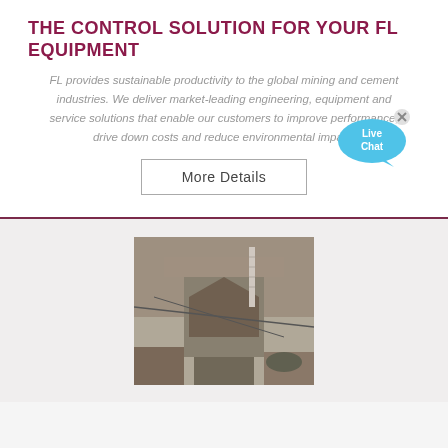THE CONTROL SOLUTION FOR YOUR FL EQUIPMENT
FL provides sustainable productivity to the global mining and cement industries. We deliver market-leading engineering, equipment and service solutions that enable our customers to improve performance, drive down costs and reduce environmental impact.
[Figure (other): Live Chat bubble icon — blue speech bubble with 'Live Chat' text and a small X close button]
More Details
[Figure (photo): Aerial view of a mining or cement plant facility showing industrial equipment, machinery, dust, and structural elements on rooftop]